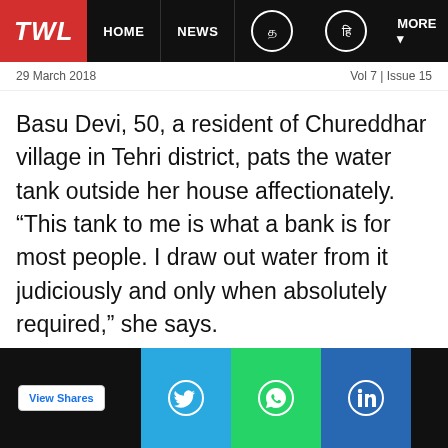TWL | HOME | NEWS | MORE
29 March 2018   Vol 7 | Issue 13
Basu Devi, 50, a resident of Chureddhar village in Tehri district, pats the water tank outside her house affectionately. “This tank to me is what a bank is for most people. I draw out water from it judiciously and only when absolutely required,” she says.
This hardy hill woman from a remote mountain village in the northern Indian state of Uttarakhand vividly remembers the time